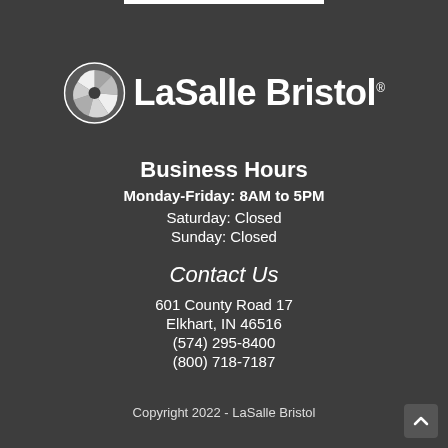[Figure (logo): LaSalle Bristol company logo with circular pinwheel/fan icon in white on dark background, followed by company name 'LaSalle Bristol' in white bold text with registered trademark symbol]
Business Hours
Monday-Friday: 8AM to 5PM
Saturday: Closed
Sunday: Closed
Contact Us
601 County Road 17
Elkhart, IN 46516
(574) 295-8400
(800) 718-7187
Copyright 2022 - LaSalle Bristol